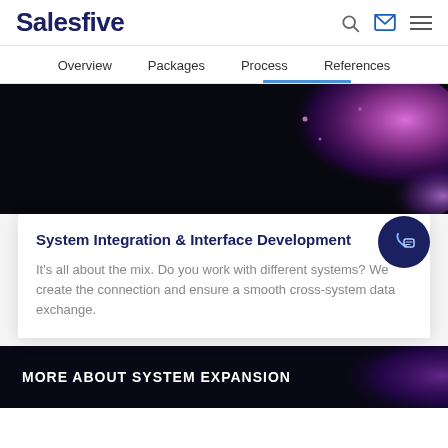Salesfive
Overview   Packages   Process   References
[Figure (photo): Dark background with glowing pink/purple abstract shape, part of a website hero section for System Integration & Interface Development]
System Integration & Interface Development
It's all about the mix. Do you work with different systems? We create the connection and ensure a smooth cross-system data exchange.
[Figure (photo): Dark banner with purple/blue glowing abstract background, showing text MORE ABOUT SYSTEM EXPANSION]
MORE ABOUT SYSTEM EXPANSION